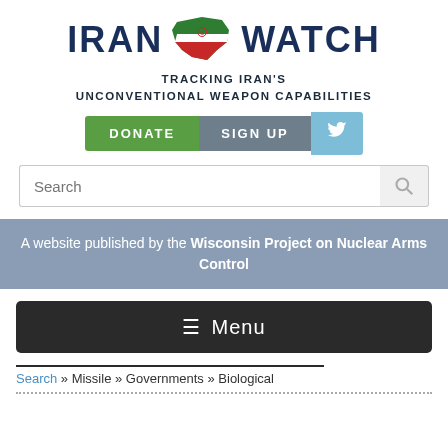[Figure (logo): Iran Watch logo with stylized map of Iran in green, white, red colors and text IRAN WATCH in dark navy blue]
TRACKING IRAN'S UNCONVENTIONAL WEAPON CAPABILITIES
[Figure (other): Button row: DONATE (green), SIGN UP (grey), Twitter bird icon (light blue)]
[Figure (other): Search input box with magnifying glass icon]
A website published by the Wisconsin Project on Nuclear Arms Control
≡ Menu
Search » Missile » Governments » Biological